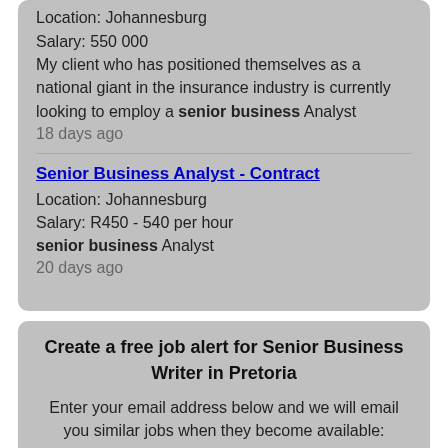Location: Johannesburg
Salary: 550 000
My client who has positioned themselves as a national giant in the insurance industry is currently looking to employ a senior business Analyst
18 days ago
Senior Business Analyst - Contract
Location: Johannesburg
Salary: R450 - 540 per hour
senior business Analyst
20 days ago
Create a free job alert for Senior Business Writer in Pretoria
Enter your email address below and we will email you similar jobs when they become available:
your.name@email.com